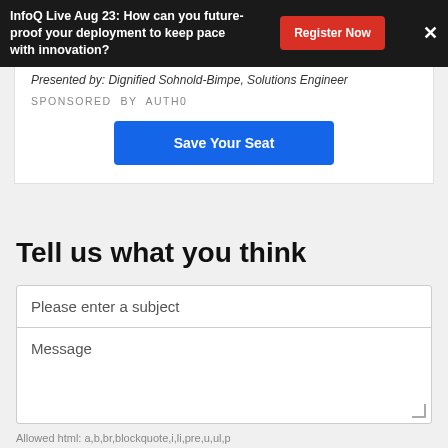InfoQ Live Aug 23: How can you future-proof your deployment to keep pace with innovation?
Presented by: Dignified Sohnold-Bimpe, Solutions Engineer
SPONSORED BY AUTH0
Save Your Seat
Tell us what you think
Please enter a subject
Message
Allowed html: a,b,br,blockquote,i,li,pre,u,ul,p